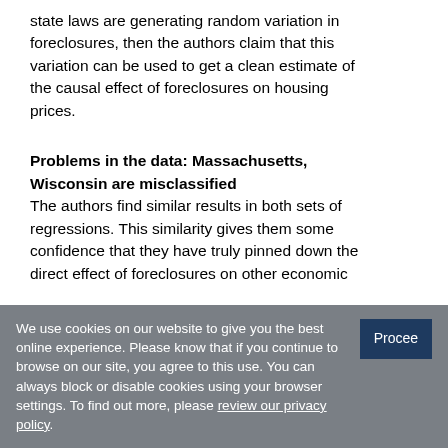state laws are generating random variation in foreclosures, then the authors claim that this variation can be used to get a clean estimate of the causal effect of foreclosures on housing prices.
Problems in the data: Massachusetts, Wisconsin are misclassified
The authors find similar results in both sets of regressions. This similarity gives them some confidence that they have truly pinned down the direct effect of foreclosures on other economic
We use cookies on our website to give you the best online experience. Please know that if you continue to browse on our site, you agree to this use. You can always block or disable cookies using your browser settings. To find out more, please review our privacy policy.